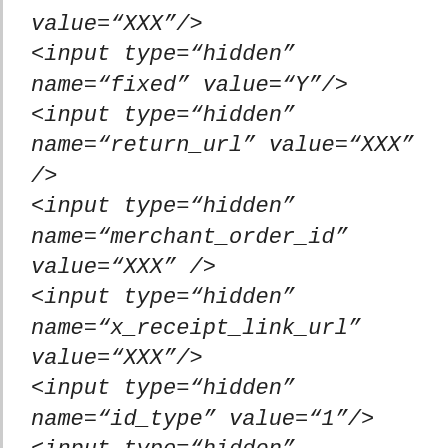value="XXX"/>
<input type="hidden"
name="fixed" value="Y"/>
<input type="hidden"
name="return_url" value="XXX"
/>
<input type="hidden"
name="merchant_order_id"
value="XXX" />
<input type="hidden"
name="x_receipt_link_url"
value="XXX"/>
<input type="hidden"
name="id_type" value="1"/>
<input type="hidden"